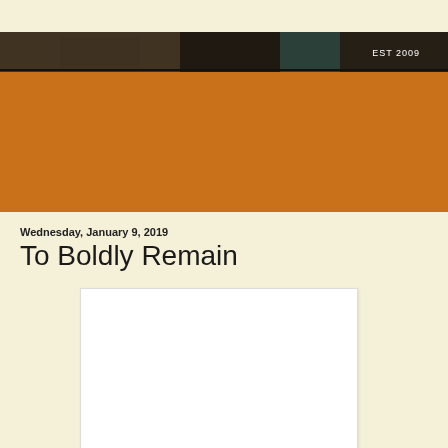[Figure (photo): Website header banner with a dark industrial/indoor photo background and 'EST 2009' text in white on the right side, with an orange band below]
Wednesday, January 9, 2019
To Boldly Remain
[Figure (other): White advertisement or image placeholder box with light border]